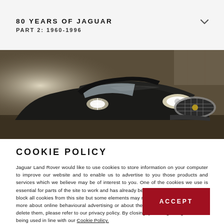80 YEARS OF JAGUAR
PART 2: 1960-1996
[Figure (photo): Front view of a dark Jaguar sports car (XK model), showing the distinctive oval grille and headlights against a stone background.]
COOKIE POLICY
Jaguar Land Rover would like to use cookies to store information on your computer to improve our website and to enable us to advertise to you those products and services which we believe may be of interest to you. One of the cookies we use is essential for parts of the site to work and has already been sent. You may delete and block all cookies from this site but some elements may not work correctly. To find out more about online behavioural advertising or about the cookies we use and how to delete them, please refer to our privacy policy. By closing, you're agreeing to cookies being used in line with our Cookie Policy.
ACCEPT